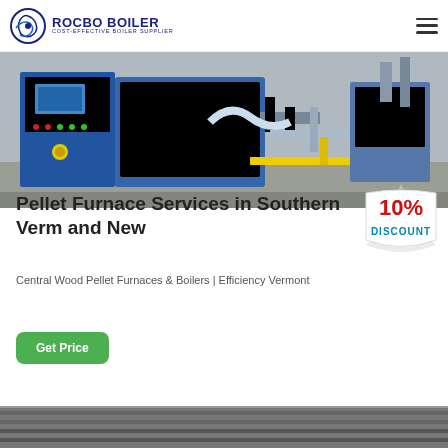ROCBO BOILER — COST-EFFECTIVE BOILER SUPPLIER
[Figure (photo): Photo of industrial pellet boiler/furnace system with blue control panel, piping, and connections in an installation setting]
[Figure (infographic): 10% DISCOUNT badge — red text '10%' on white tag with blue text 'DISCOUNT']
Pellet Furnace Services in Southern Vermont and New
Central Wood Pellet Furnaces & Boilers | Efficiency Vermont
Get Price
[Figure (photo): Bottom strip of industrial boiler/furnace equipment photo]